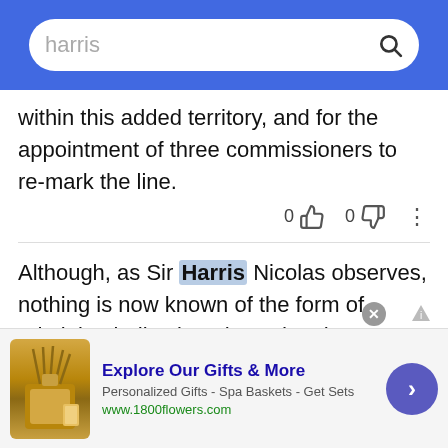harris [search bar]
within this added territory, and for the appointment of three commissioners to re-mark the line.
Although, as Sir Harris Nicolas observes, nothing is now known of the form of admitting ladies into the order, the description applied to them in the records during the 14th and 15th centuries leaves no doubt that they were regularly received into it.
It is true that as much might be inferred from Persons the testimony of the romance writers:
[Figure (other): Advertisement banner for 1800flowers.com: 'Explore Our Gifts & More - Personalized Gifts - Spa Baskets - Get Sets - www.1800flowers.com' with product image and navigation arrow]